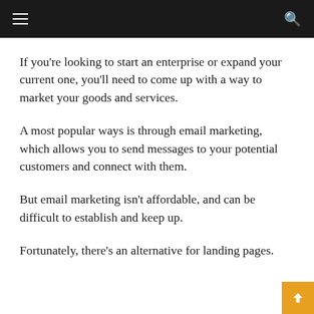navigation bar with hamburger menu and search icon
If you're looking to start an enterprise or expand your current one, you'll need to come up with a way to market your goods and services.
A most popular ways is through email marketing, which allows you to send messages to your potential customers and connect with them.
But email marketing isn't affordable, and can be difficult to establish and keep up.
Fortunately, there's an alternative for landing pages.